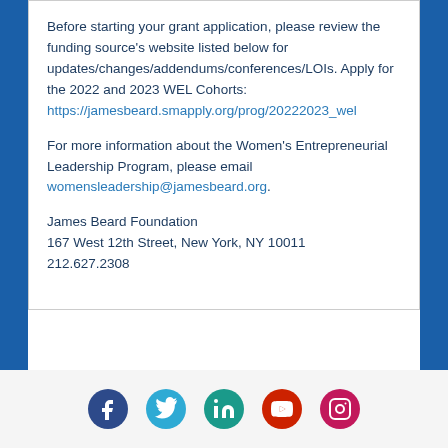Before starting your grant application, please review the funding source's website listed below for updates/changes/addendums/conferences/LOIs. Apply for the 2022 and 2023 WEL Cohorts: https://jamesbeard.smapply.org/prog/20222023_wel
For more information about the Women's Entrepreneurial Leadership Program, please email womensleadership@jamesbeard.org.
James Beard Foundation
167 West 12th Street, New York, NY 10011
212.627.2308
[Figure (other): Social media icons row: Facebook (dark blue circle), Twitter (light blue circle), LinkedIn (teal circle), YouTube (red circle), Instagram (pink/magenta circle)]